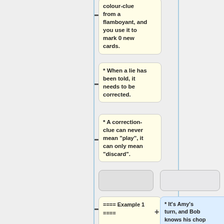colour-clue from a flamboyant, and you use it to mark 0 new cards.
* When a lie has been told, it needs to be corrected.
* A correction-clue can never mean "play", it can only mean "discard".
==== Example 1 ====
* It's Amy's turn, and Bob knows his chop card is